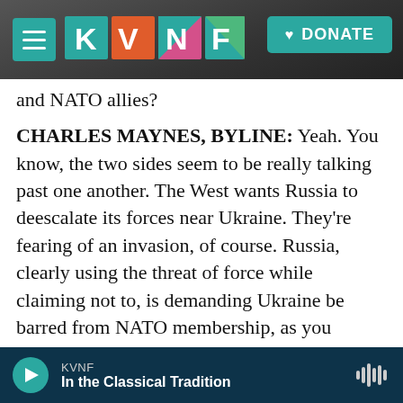KVNF — DONATE
and NATO allies?
CHARLES MAYNES, BYLINE: Yeah. You know, the two sides seem to be really talking past one another. The West wants Russia to deescalate its forces near Ukraine. They're fearing of an invasion, of course. Russia, clearly using the threat of force while claiming not to, is demanding Ukraine be barred from NATO membership, as you mentioned. It also wants the alliance to roll back its presence in Eastern Europe entirely. Now, the U.S. and its allies clearly see these Russian demands as mostly nonstarters. Ukraine may or may not become a
KVNF — In the Classical Tradition